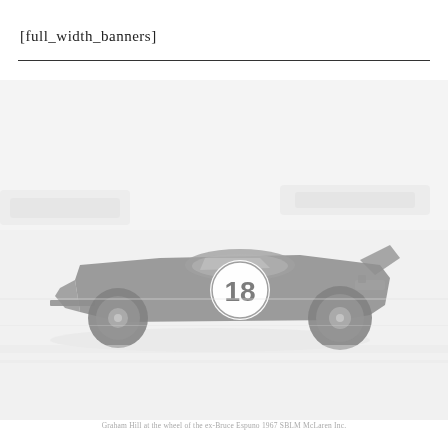[full_width_banners]
[Figure (photo): Faded/washed-out black and white photograph of a vintage racing car numbered 18 on a race track. The car is a low-slung sports prototype racing car moving at speed, with blurred background suggesting motion. Several other racing cars are visible in the background.]
Graham Hill at the wheel of the ex-Bruce Espuno 1967 SBLM McLaren Inc.